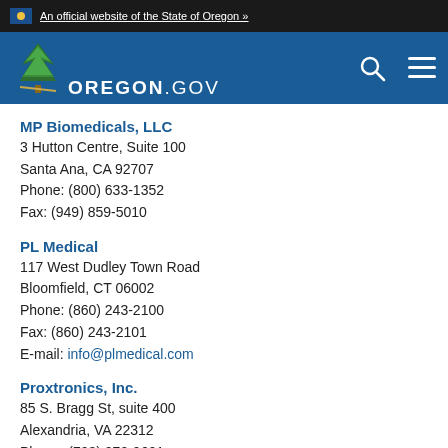An official website of the State of Oregon »
[Figure (logo): Oregon.gov logo with pine tree on blue navigation bar]
MP Biomedicals, LLC
3 Hutton Centre, Suite 100
Santa Ana, CA 92707
Phone: (800) 633-1352
Fax: (949) 859-5010
PL Medical
117 West Dudley Town Road
Bloomfield, CT 06002
Phone: (860) 243-2100
Fax: (860) 243-2101
E-mail: info@plmedical.com
Proxtronics, Inc.
85 S. Bragg St, suite 400
Alexandria, VA 22312
Phone: (703) 270-9601
Fax: (703) 455-5692
E-mail: ...